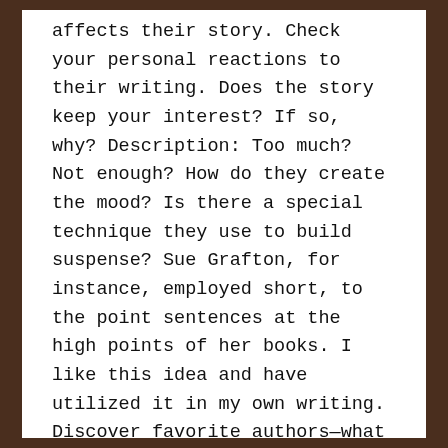affects their story. Check your personal reactions to their writing. Does the story keep your interest? If so, why? Description: Too much? Not enough? How do they create the mood? Is there a special technique they use to build suspense? Sue Grafton, for instance, employed short, to the point sentences at the high points of her books. I like this idea and have utilized it in my own writing. Discover favorite authors—what is it about them you like? PS: Reading is research.
4. Join a writers' group.
There are lots. Some are geared toward professionals where others accept anyone, from the person who wants to write a memoir but doesn't know where to begin to authors who have